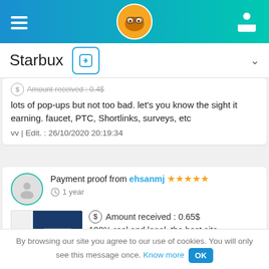[Figure (screenshot): App navigation bar with hamburger menu, fox logo, and user icon on blue-to-teal gradient background]
Starbux
Amount received : 0.4$ lots of pop-ups but not too bad. let's you know the sight it earning. faucet, PTC, Shortlinks, surveys, etc
vv | Edit. : 26/10/2020 20:19:34
Payment proof from ehsanmj ★★★★★
1 year
Amount received : 0.65$ 100% real and legal. the best site
By browsing our site you agree to our use of cookies. You will only see this message once. Know more OK